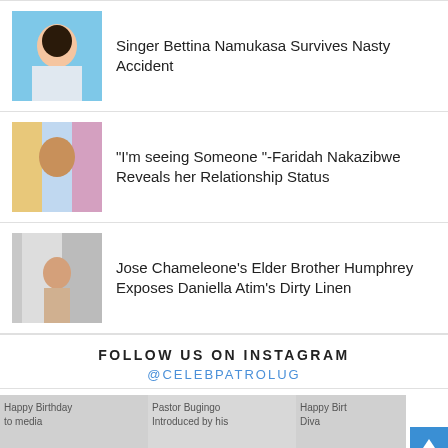[Figure (photo): Thumbnail photo of singer Bettina Namukasa]
Singer Bettina Namukasa Survives Nasty Accident
[Figure (photo): Thumbnail photo of Faridah Nakazibwe]
“I’m seeing Someone “-Faridah Nakazibwe Reveals her Relationship Status
[Figure (photo): Thumbnail photo related to Jose Chameleone story]
Jose Chameleone’s Elder Brother Humphrey Exposes Daniella Atim’s Dirty Linen
FOLLOW US ON INSTAGRAM
@CELEBPATROLUG
[Figure (photo): Happy Birthday to media]
[Figure (photo): Pastor Bugingo Introduced by his]
[Figure (photo): Happy Birthday Diva]